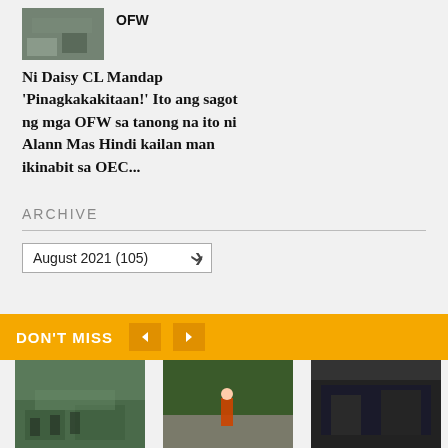[Figure (photo): Small thumbnail image of OFW-related scene]
OFW
Ni Daisy CL Mandap
'Pinagkakakitaan!' Ito ang sagot ng mga OFW sa tanong na ito ni Alann Mas Hindi kailan man ikinabit sa OEC...
ARCHIVE
August 2021 (105)
DON'T MISS
[Figure (photo): Outdoor dining/canteen scene with people seated]
[Figure (photo): Person walking on a road with greenery]
[Figure (photo): Dark building facade/exterior scene]